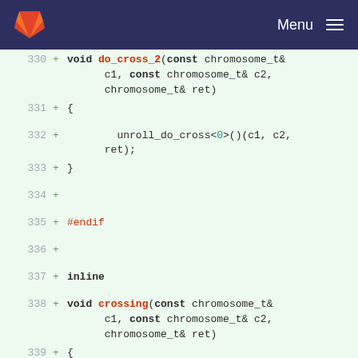Menu
330  + void do_cross_2(const chromosome_t& c1, const chromosome_t& c2, chromosome_t& ret)
331  + {
332  +     unroll_do_cross<0>()(c1, c2, ret);
333  + }
334  +
335  + #endif
336  +
337  + inline
338  + void crossing(const chromosome_t& c1, const chromosome_t& c2, chromosome_t& ret)
339  + {
340  +     static gamete_t g1, g2, h1, h2;
341  +     /*gen_gamete(g1);*/
342  +     /*gen_gamete(g2);*/
343  +     /*gen_haplo(c1, g1, h1);*/
344  +     /*gen_haplo(c2, g2, h2);*/